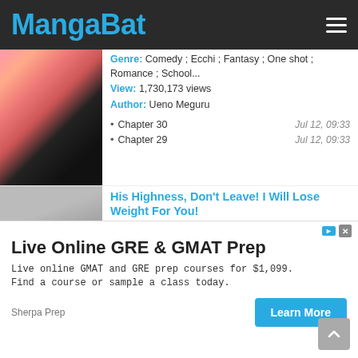MangaBat
Genre: Comedy ; Ecchi ; Fantasy ; One shot ; Romance ; School...
View: 1,730,173 views
Author: Ueno Meguru
Chapter 30 — Jul 12, 09:33
Chapter 29 — Jul 12, 09:33
His Highness, Don't Leave! I Will Lose Weight For You!
Genre: Comedy ; Drama ; Historical ; One shot ; Romance
View: 1,700,385 views
Author: 叔逢燕
Chapter 155 — Jan 23, 23:30
Chapter 154 — Jan 23, 23:30
[Figure (screenshot): Advertisement banner: Live Online GRE & GMAT Prep - Live online GMAT and GRE prep courses for $1,099. Find a course or sample a class today. Sherpa Prep. Learn More button.]